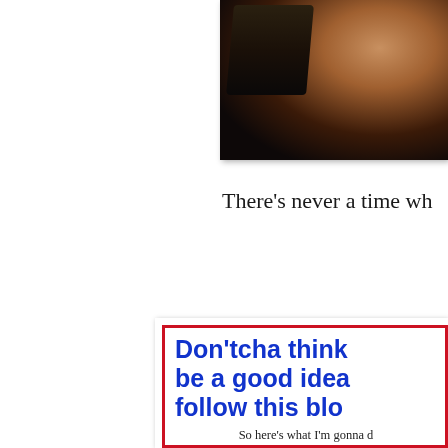[Figure (photo): Partial photo showing a person wearing dark clothing against a wooden surface background, cropped at the right edge of the page]
There's never a time wh
[Figure (infographic): Promotional card with red border containing bold blue text 'Don’tcha think be a good idea follow this blo' and smaller text 'So here’s what I’m gonna d We have 140+ followers right']